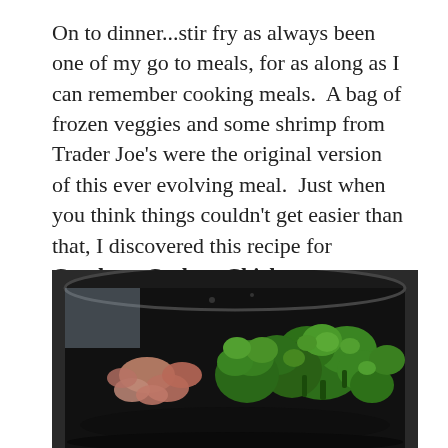On to dinner...stir fry as always been one of my go to meals, for as along as I can remember cooking meals.  A bag of frozen veggies and some shrimp from Trader Joe's were the original version of this ever evolving meal.  Just when you think things couldn't get easier than that, I discovered this recipe for Crockpot Cashew Chicken.
[Figure (photo): Photo of a black crockpot slow cooker containing broccoli florets and shrimp or chicken pieces cooking inside.]